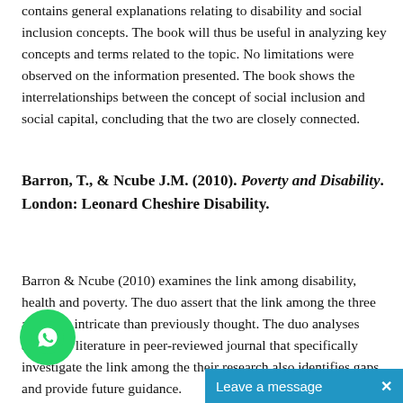contains general explanations relating to disability and social inclusion concepts. The book will thus be useful in analyzing key concepts and terms related to the topic. No limitations were observed on the information presented. The book shows the interrelationships between the concept of social inclusion and social capital, concluding that the two are closely connected.
Barron, T., & Ncube J.M. (2010). Poverty and Disability. London: Leonard Cheshire Disability.
Barron & Ncube (2010) examines the link among disability, health and poverty. The duo assert that the link among the three are more intricate than previously thought. The duo analyses available literature in peer-reviewed journal that specifically investigate the link among the their research also identifies gaps and provide future guidance.